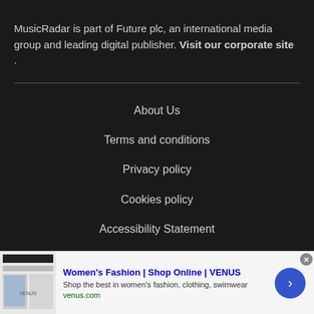MusicRadar is part of Future plc, an international media group and leading digital publisher. Visit our corporate site .
About Us
Terms and conditions
Privacy policy
Cookies policy
Accessibility Statement
[Figure (other): Advertisement banner for Women's Fashion | Shop Online | VENUS. Shows a fashion website screenshot thumbnail on the left, ad text in the middle including title 'Women's Fashion | Shop Online | VENUS', subtitle 'Shop the best in women's fashion, clothing, swimwear', URL 'venus.com', and a blue circular arrow button on the right. A close button (x) is in the top right corner.]